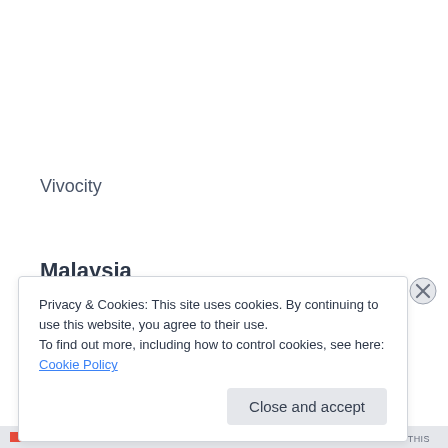Vivocity
Malaysia
Suria KLCC, Kuala Lumpur
Privacy & Cookies: This site uses cookies. By continuing to use this website, you agree to their use.
To find out more, including how to control cookies, see here: Cookie Policy
Close and accept